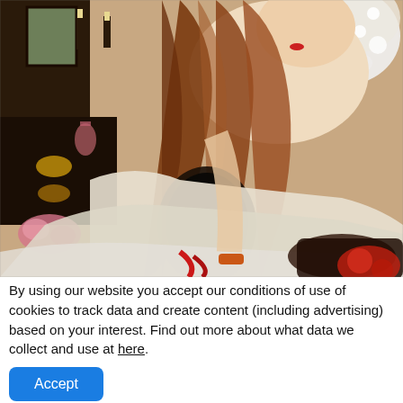[Figure (illustration): Pre-Raphaelite painting of a woman with long auburn hair holding a hand mirror, wearing a white dress with fur trim and an orange bracelet, seated near a vanity with flowers and candles in the background]
By using our website you accept our conditions of use of cookies to track data and create content (including advertising) based on your interest. Find out more about what data we collect and use at here.
Accept